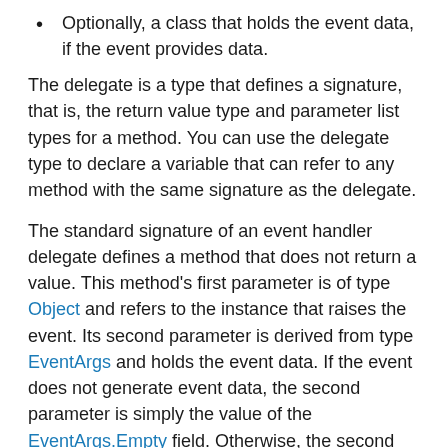Optionally, a class that holds the event data, if the event provides data.
The delegate is a type that defines a signature, that is, the return value type and parameter list types for a method. You can use the delegate type to declare a variable that can refer to any method with the same signature as the delegate.
The standard signature of an event handler delegate defines a method that does not return a value. This method's first parameter is of type Object and refers to the instance that raises the event. Its second parameter is derived from type EventArgs and holds the event data. If the event does not generate event data, the second parameter is simply the value of the EventArgs.Empty field. Otherwise, the second parameter is a type derived from EventArgs and supplies any fields or properties needed to hold the event data.
The EventHandler delegate is a predefined delegate that